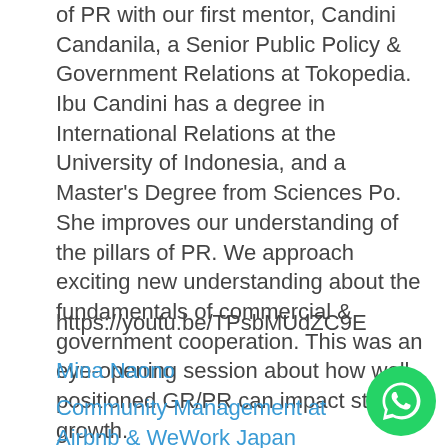of PR with our first mentor, Candini Candanila, a Senior Public Policy & Government Relations at Tokopedia. Ibu Candini has a degree in International Relations at the University of Indonesia, and a Master's Degree from Sciences Po. She improves our understanding of the pillars of PR. We approach exciting new understanding about the fundamentals of commercial & government cooperation. This was an eye-opening session about how well positioned GR/PR can impact startup growth.
https://youtu.be/TPsbMUdZC9E
Mina Naono
Community Management at Airbnb & WeWork Japan
[Figure (logo): WhatsApp button icon - green circle with white phone handset symbol]